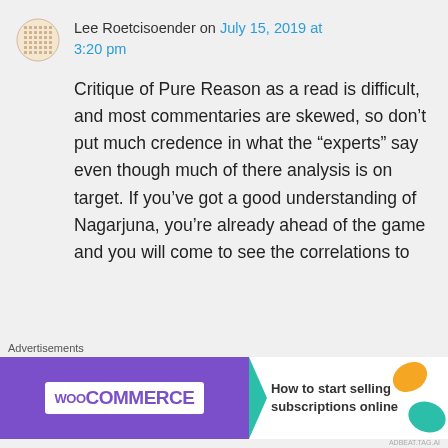Lee Roetcisoender on July 15, 2019 at 3:20 pm
Critique of Pure Reason as a read is difficult, and most commentaries are skewed, so don’t put much credence in what the “experts” say even though much of there analysis is on target. If you’ve got a good understanding of Nagarjuna, you’re already ahead of the game and you will come to see the correlations to
[Figure (other): WooCommerce advertisement banner: purple left side with WooCommerce logo and teal arrow, white right side with orange/teal leaf decorations and text 'How to start selling subscriptions online']